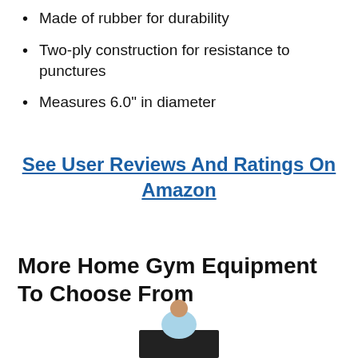Made of rubber for durability
Two-ply construction for resistance to punctures
Measures 6.0" in diameter
See User Reviews And Ratings On Amazon
More Home Gym Equipment To Choose From
[Figure (photo): Person sitting at a desk, viewed from behind, partial image at bottom of page]